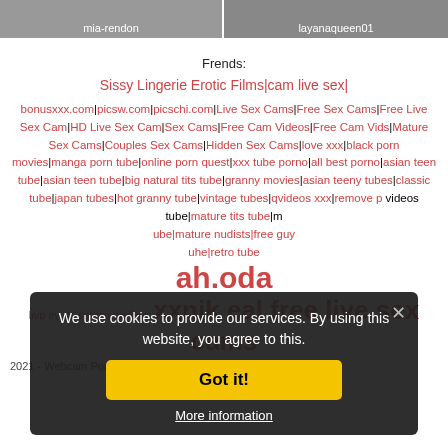[Figure (photo): Top banner with two webcam thumbnails: mia-rendon on the left, layanaqueen01 on the right]
Frends:
Sissy Lingerie Erotic Films|cam live sex|
bonusxxx.com|picsw.com|picschi.com|Live Sex Cams|Free Sex Cams|Free Live Sex Cam|HD Live Sex Cam|Sex Cams|Free Cam Videos|Free Cam Vids|Mature Sex Cams|Couples Sex Cams|Hidden Sex Cams|love xxx|black porn movies|manga porn tube|online porn quest|xxx tube porno|all best porno|asian teen tube|asian teen tube|big natural tits tube|granny movies|asian teeny tubes|classic tube|japan tubes|hot granny tube|vintage tubes|qvideos xxx|remove p videos tube|mature tits tube|m ube|mature nudists|free guy uhe|retro tube livp ey se sex|po ner|boo xxxpoc xxnik eal free live sex cams
2021 - Webcam Porn Videos
We use cookies to provide our services. By using this website, you agree to this.
Got it!
More information